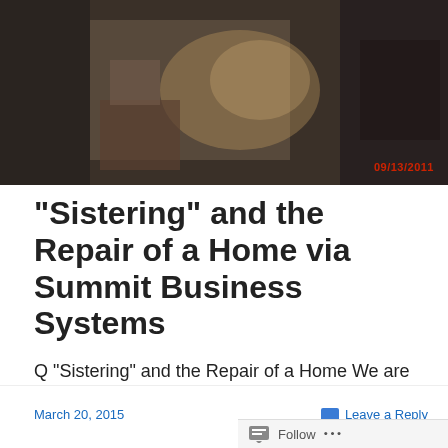[Figure (photo): Interior photo of a fire-damaged home showing charred walls, debris, and disarray. Timestamp '09/13/2011' visible in red at bottom right.]
“Sistering” and the Repair of a Home via Summit Business Systems
Q "Sistering" and the Repair of a Home We are a public adjusting firm. Our client's home is insured on an independently filed HO 00 03 05 01. A recent fire did much damage to the home. Part of that damage was the charring of the framing. Instead of replacing … Continue reading →
March 20, 2015       Leave a Reply       Follow …